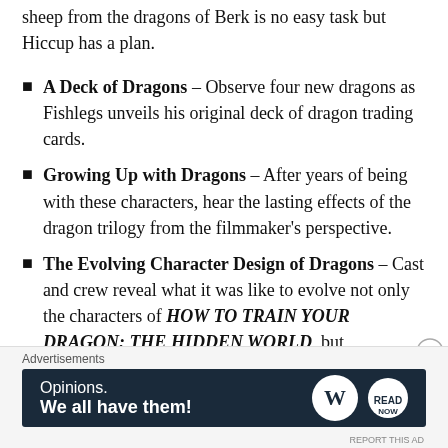sheep from the dragons of Berk is no easy task but Hiccup has a plan.
A Deck of Dragons – Observe four new dragons as Fishlegs unveils his original deck of dragon trading cards.
Growing Up with Dragons – After years of being with these characters, hear the lasting effects of the dragon trilogy from the filmmaker's perspective.
The Evolving Character Design of Dragons – Cast and crew reveal what it was like to evolve not only the characters of HOW TO TRAIN YOUR DRAGON: THE HIDDEN WORLD, but themselves as well.
Advertisements
[Figure (other): WordPress advertisement banner: 'Opinions. We all have them!' with WordPress logo and secondary logo on dark navy background]